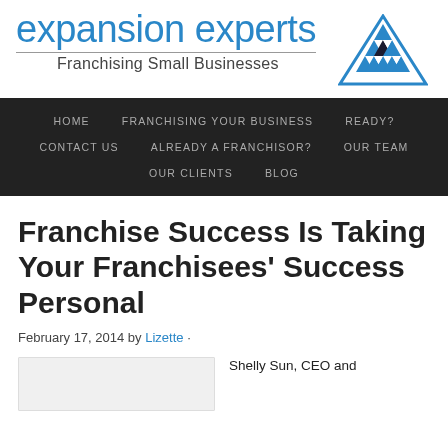[Figure (logo): Expansion Experts logo with blue triangle icon, blue text 'expansion experts', and tagline 'Franchising Small Businesses']
HOME   FRANCHISING YOUR BUSINESS   READY?   CONTACT US   ALREADY A FRANCHISOR?   OUR TEAM   OUR CLIENTS   BLOG
Franchise Success Is Taking Your Franchisees' Success Personal
February 17, 2014 by Lizette ·
Shelly Sun, CEO and